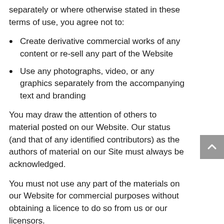separately or where otherwise stated in these terms of use, you agree not to:
Create derivative commercial works of any content or re-sell any part of the Website
Use any photographs, video, or any graphics separately from the accompanying text and branding
You may draw the attention of others to material posted on our Website. Our status (and that of any identified contributors) as the authors of material on our Site must always be acknowledged.
You must not use any part of the materials on our Website for commercial purposes without obtaining a licence to do so from us or our licensors.
All rights not granted or licensed pursuant to these Terms are hereby expressly reserved to us.
Trade marks: